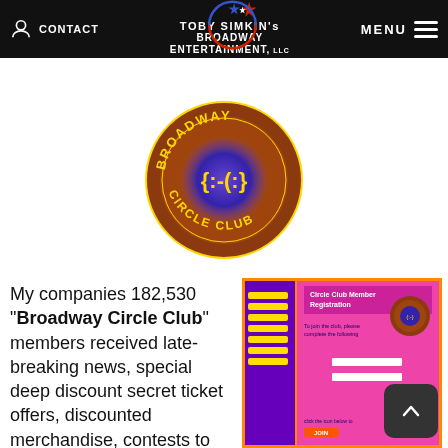CONTACT | TOBY SIMKIN's BROADWAY ENTERTAINMENT, LLC | MENU
[Figure (logo): Broadway Circle Club circular logo — brown ring with gold text 'BROADWAY' on top and 'CIRCLE CLUB' on bottom, blue glowing center with yellow smiley-face emoticon]
My companies 182,530 "Broadway Circle Club" members received late-breaking news, special deep discount secret ticket offers, discounted merchandise, contests to win trips to NY or London, receive special event invitations directly from shows producers to visit backstage, attend cast events, obtain tickets for TV show tapings,
[Figure (screenshot): Screenshot of a website showing a purple and pink page with 'Circle Club Member Registration' form, with orange border and Broadway Circle Club logo visible]